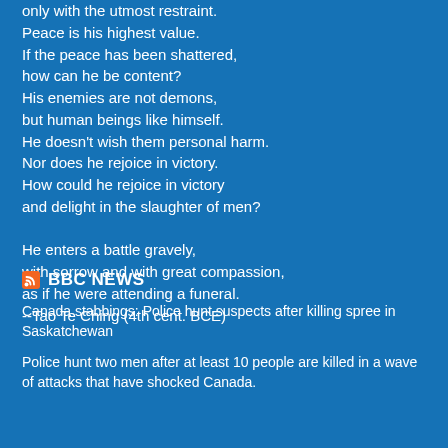only with the utmost restraint.
Peace is his highest value.
If the peace has been shattered,
how can he be content?
His enemies are not demons,
but human beings like himself.
He doesn't wish them personal harm.
Nor does he rejoice in victory.
How could he rejoice in victory
and delight in the slaughter of men?

He enters a battle gravely,
with sorrow and with great compassion,
as if he were attending a funeral.
--Tao Te Ching (4th cent. BCE)
BBC NEWS
Canada stabbings: Police hunt suspects after killing spree in Saskatchewan
Police hunt two men after at least 10 people are killed in a wave of attacks that have shocked Canada.